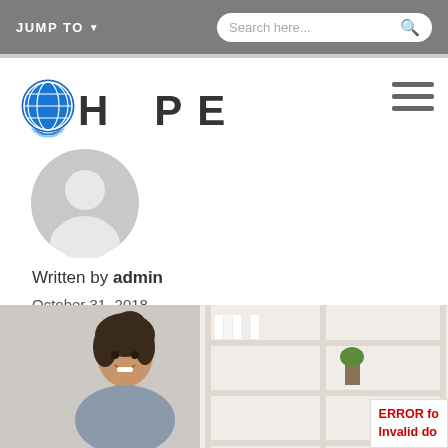JUMP TO   Search here...
[Figure (logo): HOPE organization logo with globe icon]
[Figure (illustration): Grey default user avatar icon (circle with person silhouette)]
Written by admin
October 31, 2018
[Figure (photo): Photo of a smiling young woman with dark hair, in an office with a white bookshelf in the background]
ERROR fo
Invalid do